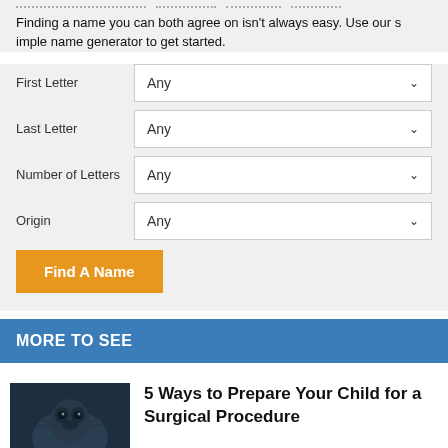Finding a name you can both agree on isn't always easy. Use our simple name generator to get started.
First Letter — Any
Last Letter — Any
Number of Letters — Any
Origin — Any
Find A Name
MORE TO SEE
5 Ways to Prepare Your Child for a Surgical Procedure